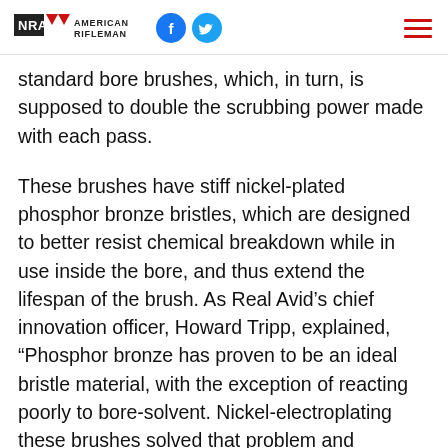NRA American Rifleman
standard bore brushes, which, in turn, is supposed to double the scrubbing power made with each pass.
These brushes have stiff nickel-plated phosphor bronze bristles, which are designed to better resist chemical breakdown while in use inside the bore, and thus extend the lifespan of the brush. As Real Avid’s chief innovation officer, Howard Tripp, explained, “Phosphor bronze has proven to be an ideal bristle material, with the exception of reacting poorly to bore-solvent. Nickel-electroplating these brushes solved that problem and increased their useful longevity as well.”
At the same time, Real Avid worked to find a balance